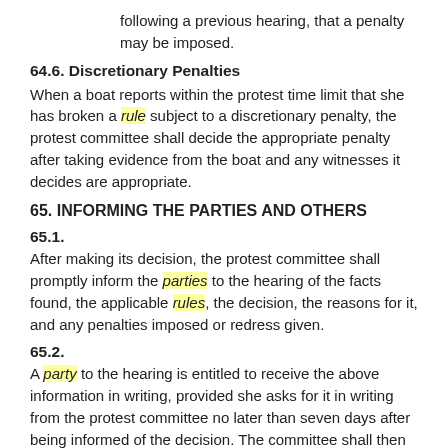following a previous hearing, that a penalty may be imposed.
64.6. Discretionary Penalties
When a boat reports within the protest time limit that she has broken a rule subject to a discretionary penalty, the protest committee shall decide the appropriate penalty after taking evidence from the boat and any witnesses it decides are appropriate.
65. INFORMING THE PARTIES AND OTHERS
65.1.
After making its decision, the protest committee shall promptly inform the parties to the hearing of the facts found, the applicable rules, the decision, the reasons for it, and any penalties imposed or redress given.
65.2.
A party to the hearing is entitled to receive the above information in writing, provided she asks for it in writing from the protest committee no later than seven days after being informed of the decision. The committee shall then promptly provide the information, including, when relevant, a diagram of the incident